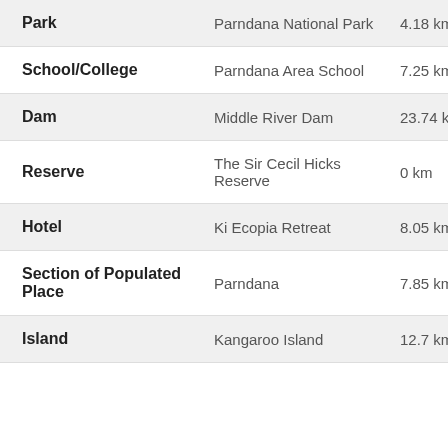| Type | Name | Distance |
| --- | --- | --- |
| Park | Parndana National Park | 4.18 km |
| School/College | Parndana Area School | 7.25 km |
| Dam | Middle River Dam | 23.74 km |
| Reserve | The Sir Cecil Hicks Reserve | 0 km |
| Hotel | Ki Ecopia Retreat | 8.05 km |
| Section of Populated Place | Parndana | 7.85 km |
| Island | Kangaroo Island | 12.7 km |